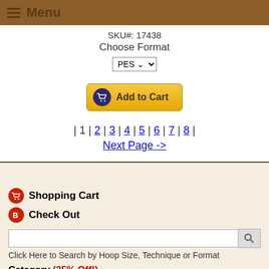Menu
SKU#: 17438
Choose Format
PES
Add to Cart
| 1 | 2 | 3 | 4 | 5 | 6 | 7 | 8 | Next Page ->
Shopping Cart
Check Out
Click Here to Search by Hoop Size, Technique or Format
Category (35% Off!)
Alphabets
Angels